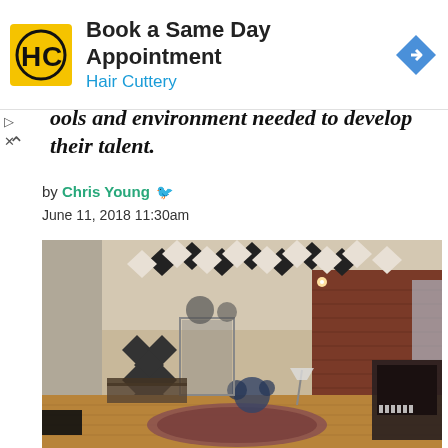[Figure (other): Hair Cuttery advertisement banner with logo, 'Book a Same Day Appointment' heading, and Hair Cuttery subheading with navigation arrow icon]
ools and environment needed to develop their talent.
by Chris Young
June 11, 2018 11:30am
[Figure (photo): Interior of a professional music recording studio with acoustic foam panels on ceiling and walls in diamond pattern, brick wall, drum kit, piano, oriental rug on hardwood floor, and various musical equipment]